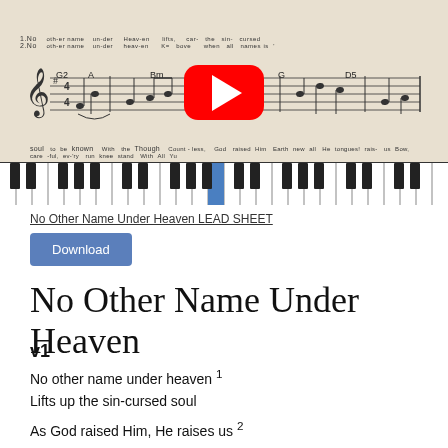[Figure (screenshot): YouTube video thumbnail showing sheet music/lead sheet for 'No Other Name Under Heaven' with piano keyboard at bottom and YouTube play button overlay. Sheet music shows staff notation with chord symbols G2, A, Bm, G, D5.]
No Other Name Under Heaven LEAD SHEET
Download
No Other Name Under Heaven
v1
No other name under heaven 1
Lifts up the sin-cursed soul
As God raised Him, He raises us 2